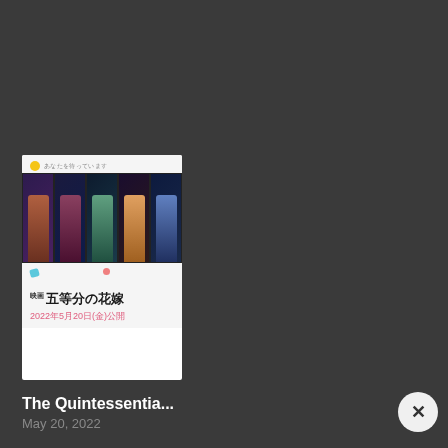[Figure (illustration): Japanese anime movie poster for 'The Quintessential Quintuplets' (五等分の花嫁) movie. Shows 5 panels with anime female characters on a white background with Japanese title text and release date 2022年5月20日(金)公開]
The Quintessentia...
May 20, 2022